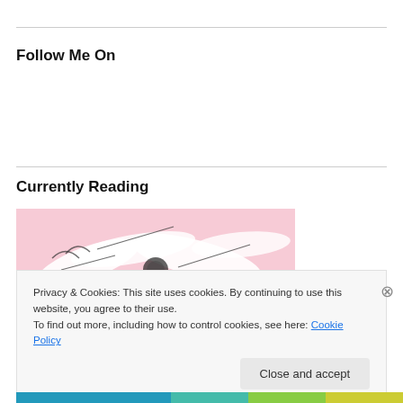Follow Me On
Currently Reading
[Figure (illustration): Pink and white floral/feather illustration, partial book cover image]
Privacy & Cookies: This site uses cookies. By continuing to use this website, you agree to their use.
To find out more, including how to control cookies, see here: Cookie Policy
Close and accept